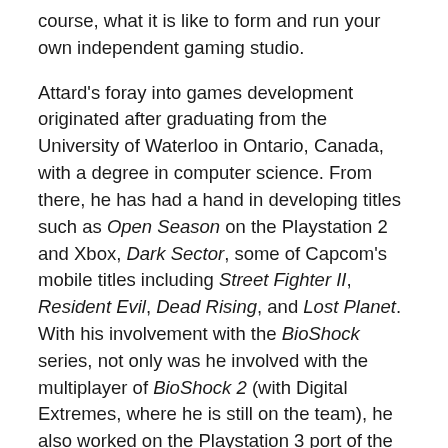course, what it is like to form and run your own independent gaming studio.

Attard's foray into games development originated after graduating from the University of Waterloo in Ontario, Canada, with a degree in computer science. From there, he has had a hand in developing titles such as Open Season on the Playstation 2 and Xbox, Dark Sector, some of Capcom's mobile titles including Street Fighter II, Resident Evil, Dead Rising, and Lost Planet. With his involvement with the BioShock series, not only was he involved with the multiplayer of BioShock 2 (with Digital Extremes, where he is still on the team), he also worked on the Playstation 3 port of the original BioShock. Attard was coming fresh off the release of BioShock 2 when I was able to speak to him, and he had nothing but positive statements about the development and its performance.